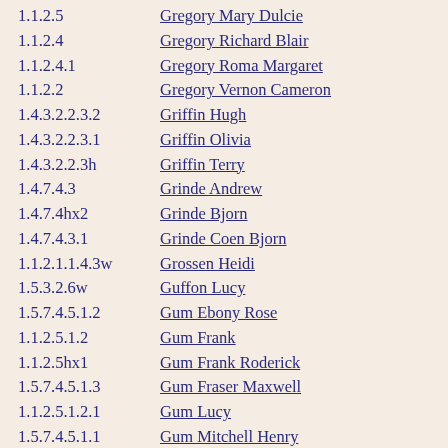1.1.2.5   Gregory Mary Dulcie
1.1.2.4   Gregory Richard Blair
1.1.2.4.1   Gregory Roma Margaret
1.1.2.2   Gregory Vernon Cameron
1.4.3.2.2.3.2   Griffin Hugh
1.4.3.2.2.3.1   Griffin Olivia
1.4.3.2.2.3h   Griffin Terry
1.4.7.4.3   Grinde Andrew
1.4.7.4hx2   Grinde Bjorn
1.4.7.4.3.1   Grinde Coen Bjorn
1.1.2.1.1.4.3w   Grossen Heidi
1.5.3.2.6w   Guffon Lucy
1.5.7.4.5.1.2   Gum Ebony Rose
1.1.2.5.1.2   Gum Frank
1.1.2.5hx1   Gum Frank Roderick
1.5.7.4.5.1.3   Gum Fraser Maxwell
1.1.2.5.1.2.1   Gum Lucy
1.5.7.4.5.1.1   Gum Mitchell Henry
1.5.7.4.5.1h   Gum Peter Jeffery
1.1.2.5.1.1   Gum Rona
1.1.2.5.1   Gum Ronald